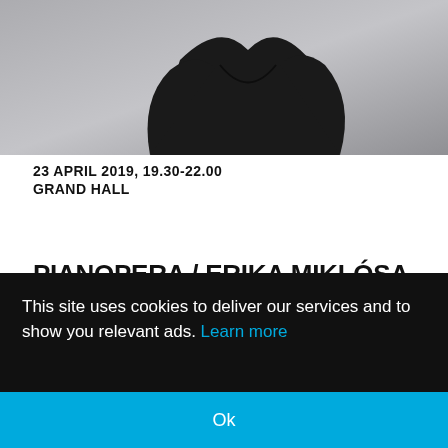[Figure (photo): Portrait photo of a woman wearing a black garment against a gray background, cropped to show upper body and partial face]
23 APRIL 2019,  19.30-22.00
GRAND HALL
PIANOPERA / ERIKA MIKLÓSA & JÁNOS BALÁZS [globe icon]
MVM Concerts
This site uses cookies to deliver our services and to show you relevant ads. Learn more
Ok